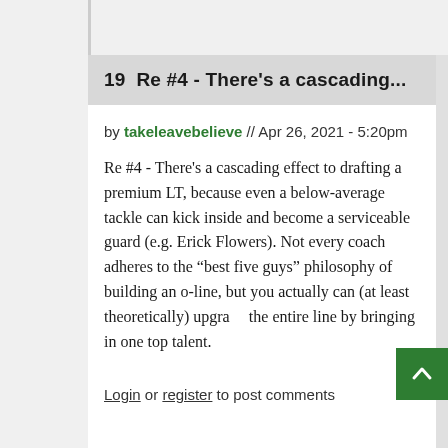19  Re #4 - There's a cascading...
by takeleavebelieve // Apr 26, 2021 - 5:20pm
Re #4 - There's a cascading effect to drafting a premium LT, because even a below-average tackle can kick inside and become a serviceable guard (e.g. Erick Flowers). Not every coach adheres to the “best five guys” philosophy of building an o-line, but you actually can (at least theoretically) upgrade the entire line by bringing in one top talent.
Login or register to post comments